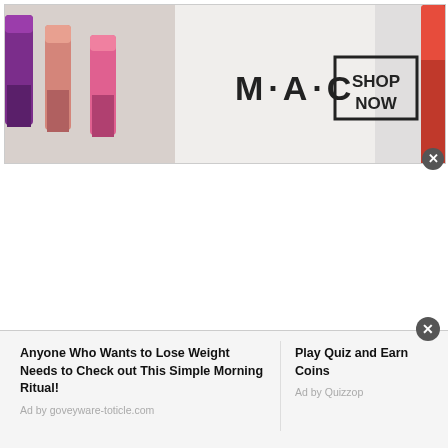[Figure (advertisement): MAC Cosmetics banner ad showing colorful lipsticks (purple, pink, coral) on the left, MAC logo in the center, a SHOP NOW button in a black border box, and a red lipstick on the right with a close (X) button.]
[Figure (advertisement): Bottom banner ad with two promoted content items: left side says 'Anyone Who Wants to Lose Weight Needs to Check out This Simple Morning Ritual!' with 'Ad by goveyware-toticle.com' below; right side says 'Play Quiz and Earn Coins' with 'Ad by Quizzop' below. A close (X) button is in the top-right corner.]